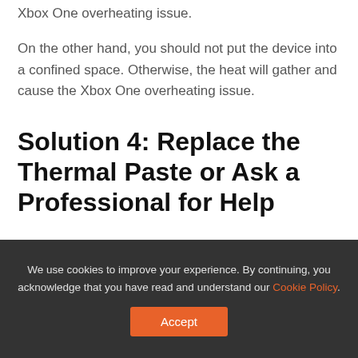Xbox One overheating issue.
On the other hand, you should not put the device into a confined space. Otherwise, the heat will gather and cause the Xbox One overheating issue.
Solution 4: Replace the Thermal Paste or Ask a Professional for Help
If your Xbox One keeps overheating after you try the above methods, there should be some internal
We use cookies to improve your experience. By continuing, you acknowledge that you have read and understand our Cookie Policy.